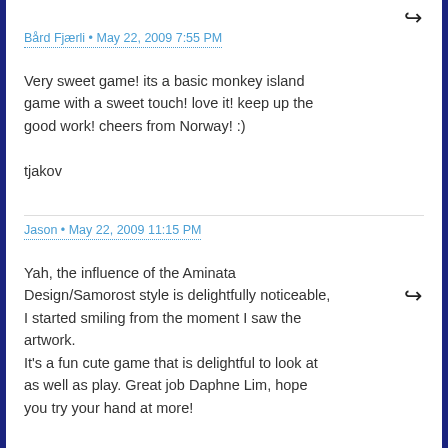↩ (reply icon)
Bård Fjærli • May 22, 2009 7:55 PM
Very sweet game! its a basic monkey island game with a sweet touch! love it! keep up the good work! cheers from Norway! :)
tjakov
↩ (reply icon)
Jason • May 22, 2009 11:15 PM
Yah, the influence of the Aminata Design/Samorost style is delightfully noticeable, I started smiling from the moment I saw the artwork.
It's a fun cute game that is delightful to look at as well as play. Great job Daphne Lim, hope you try your hand at more!